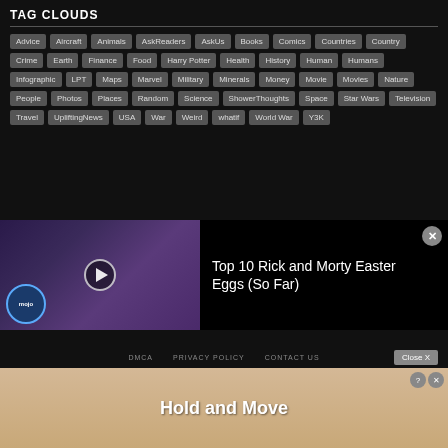TAG CLOUDS
Advice, Aircraft, Animals, AskReaders, AskUs, Books, Comics, Countries, Country, Crime, Earth, Finance, Food, Harry Potter, Health, History, Human, Humans, Infographic, LPT, Maps, Marvel, Military, Minerals, Money, Movie, Movies, Nature, People, Photos, Places, Random, Science, ShowerThoughts, Space, Star Wars, Television, Travel, UpliftingNews, USA, War, Weird, whatif, World War, Y3K
[Figure (screenshot): Video thumbnail showing Rick and Morty animated characters with WatchMojo logo]
Top 10 Rick and Morty Easter Eggs (So Far)
DMCA   PRIVACY POLICY   CONTACT US   Close X
[Figure (screenshot): Mobile game advertisement - Hold and Move]